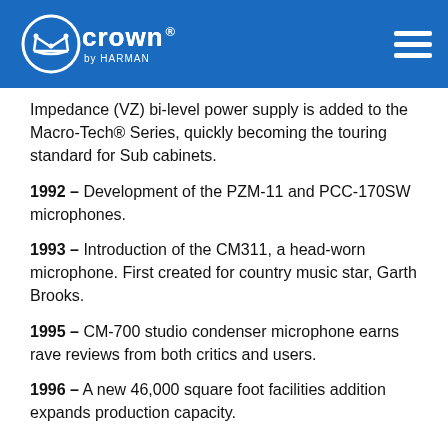Crown by Harman
Impedance (VZ) bi-level power supply is added to the Macro-Tech® Series, quickly becoming the touring standard for Sub cabinets.
1992 – Development of the PZM-11 and PCC-170SW microphones.
1993 – Introduction of the CM311, a head-worn microphone. First created for country music star, Garth Brooks.
1995 – CM-700 studio condenser microphone earns rave reviews from both critics and users.
1996 – A new 46,000 square foot facilities addition expands production capacity.